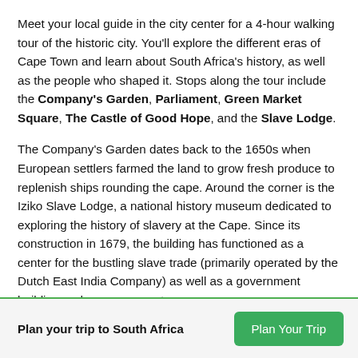Meet your local guide in the city center for a 4-hour walking tour of the historic city. You'll explore the different eras of Cape Town and learn about South Africa's history, as well as the people who shaped it. Stops along the tour include the Company's Garden, Parliament, Green Market Square, The Castle of Good Hope, and the Slave Lodge.
The Company's Garden dates back to the 1650s when European settlers farmed the land to grow fresh produce to replenish ships rounding the cape. Around the corner is the Iziko Slave Lodge, a national history museum dedicated to exploring the history of slavery at the Cape. Since its construction in 1679, the building has functioned as a center for the bustling slave trade (primarily operated by the Dutch East India Company) as well as a government building and supreme court.
Plan your trip to South Africa   [Plan Your Trip button]